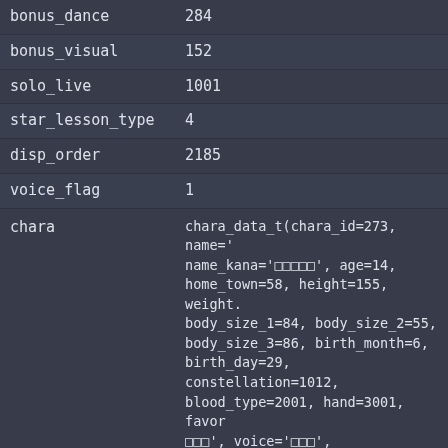| field | value |
| --- | --- |
| bonus_dance | 284 |
| bonus_visual | 152 |
| solo_live | 1001 |
| star_lesson_type | 4 |
| disp_order | 2185 |
| voice_flag | 1 |
| chara | chara_data_t(chara_id=273, name='...', name_kana='□□□□□', age=14, home_town=58, height=155, weight=..., body_size_1=84, body_size_2=55, body_size_3=86, birth_month=6, birth_day=29, constellation=1012, blood_type=2001, hand=3001, favor...□□□', voice='□□□', model_height_id=..., model_weight_id=0, model_bust_id=..., model_skin_id=2, spine_size=1, personality=2, type=3, base_card_id=300075, bus_vo_value=..., bus_da_value=1461, bus_vi_value=1..., special_type=0, kanji_spaced='□□□□...', kana_spaced='□□□□□', conventional='Natalie', alist=[]) |